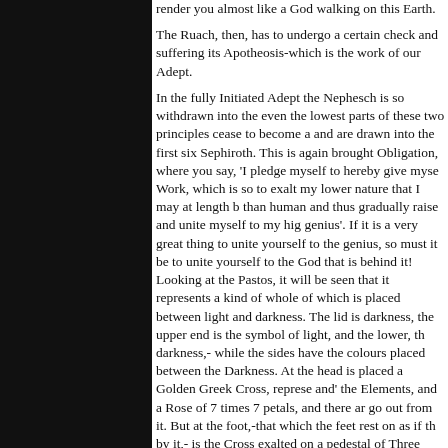render you almost like a God walking on this Earth.

The Ruach, then, has to undergo a certain check and suffering its Apotheosis-which is the work of our Adept.

In the fully Initiated Adept the Nephesch is so withdrawn into the even the lowest parts of these two principles cease to become a and are drawn into the first six Sephiroth. This is again brought Obligation, where you say, 'I pledge myself to hereby give myse Work, which is so to exalt my lower nature that I may at length b than human and thus gradually raise and unite myself to my hig genius'. If it is a very great thing to unite yourself to the genius, so must it be to unite yourself to the God that is behind it! Looking at the Pastos, it will be seen that it represents a kind of whole of which is placed between light and darkness. The lid is darkness, the upper end is the symbol of light, and the lower, th darkness,- while the sides have the colours placed between the Darkness. At the head is placed a Golden Greek Cross, represe and' the Elements, and a Rose of 7 times 7 petals, and there ar go out from it. But at the foot,-that which the feet rest on as if th by it,- is the Cross exalted on a pedestal of Three Steps, viz, the Cross. This latter is also to an extent represented on the top in t figure, and symbolises the voluntary sacrifice of the lower Will, w incidental to allying the intellect with the higher aspirations and t establishment of your consciousness therein : - thus if the ordin consciousness were centred in the Ruach you could touch the N while if it was in the latter you could touch the Genius.
Now this transference of consciousness from Ruach to Nescha of the ceremonial of the 5°=6° Ritual:- it is a thing which will be m understood when the Grade of Adept Adeptus Minor is reached